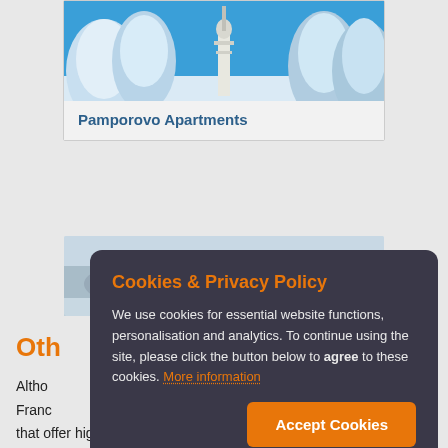[Figure (photo): Snowy winter scene with a tall tower/communications mast surrounded by snow-covered pine trees under a clear blue sky]
Pamporovo Apartments
[Figure (photo): Aerial panoramic view of a snowy forested mountainous landscape with some buildings visible]
Oth
Altho Franco that offer high quality facilities, varied ski runs and fantastic snow conditions. Many will be pleasantly surprised by the excellent
Cookies & Privacy Policy
We use cookies for essential website functions, personalisation and analytics. To continue using the site, please click the button below to agree to these cookies. More information
Accept Cookies